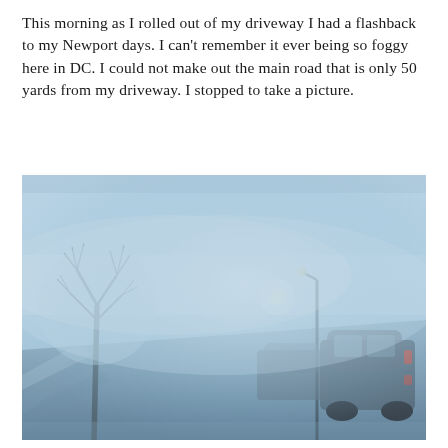This morning as I rolled out of my driveway I had a flashback to my Newport days. I can't remember it ever being so foggy here in DC. I could not make out the main road that is only 50 yards from my driveway. I stopped to take a picture.
[Figure (photo): A foggy morning street scene showing a bare tree on the left, a road disappearing into thick blue-grey fog in the center, a street lamp and parked/passing vehicles barely visible on the right side through the heavy fog.]